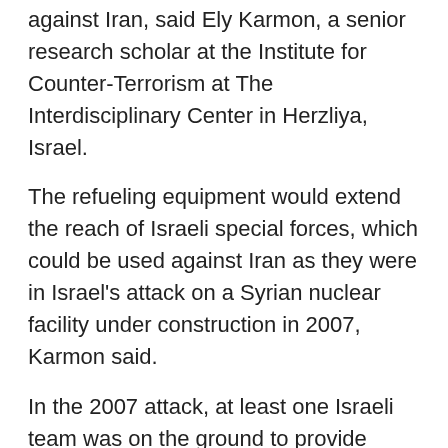against Iran, said Ely Karmon, a senior research scholar at the Institute for Counter-Terrorism at The Interdisciplinary Center in Herzliya, Israel.
The refueling equipment would extend the reach of Israeli special forces, which could be used against Iran as they were in Israel's attack on a Syrian nuclear facility under construction in 2007, Karmon said.
In the 2007 attack, at least one Israeli team was on the ground to provide laser targeting of sophisticated air munitions, Karmon said. “The same would be done for Iranian sites.”
The Osprey also could be used for search-and-rescue operations if Israeli aircraft involved in a complex air operation are shot down and pilots endangered, Karmon said.
Michael Rubin, an analyst for the American Enterprise Institute, said senior U.S. and Israeli bombers would do significantly more to help Israel hit its targets, operations